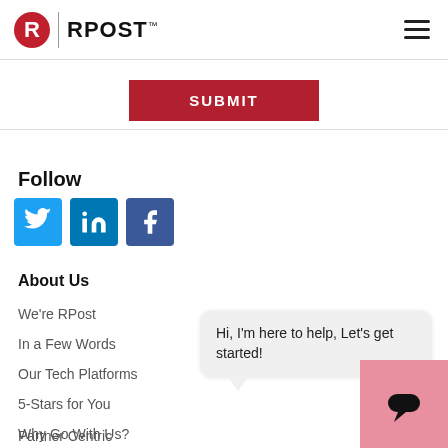RPost
SUBMIT
Follow
[Figure (logo): Twitter, LinkedIn, Facebook social media icons]
About Us
We're RPost
In a Few Words
Our Tech Platforms
5-Stars for You
Why Go With Us?
Partner Centric
Hi, I'm here to help, Let's get started!